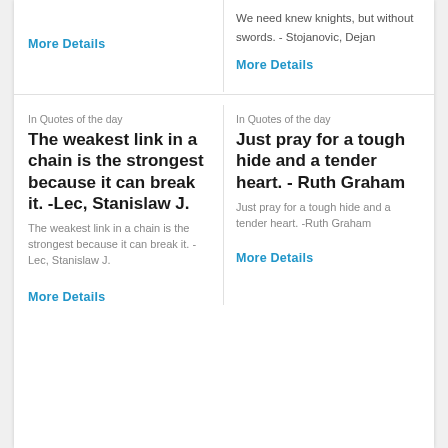We need knew knights, but without swords. - Stojanovic, Dejan
More Details
More Details
In Quotes of the day
In Quotes of the day
The weakest link in a chain is the strongest because it can break it. -Lec, Stanislaw J.
Just pray for a tough hide and a tender heart. - Ruth Graham
The weakest link in a chain is the strongest because it can break it. -Lec, Stanislaw J.
Just pray for a tough hide and a tender heart. -Ruth Graham
More Details
More Details